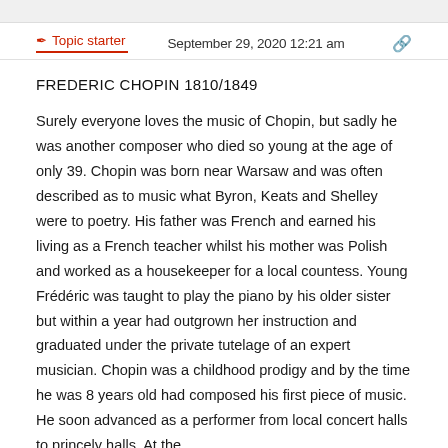🖊 Topic starter   September 29, 2020 12:21 am  🔗
FREDERIC CHOPIN 1810/1849
Surely everyone loves the music of Chopin, but sadly he was another composer who died so young at the age of only 39. Chopin was born near Warsaw and was often described as to music what Byron, Keats and Shelley were to poetry. His father was French and earned his living as a French teacher whilst his mother was Polish and worked as a housekeeper for a local countess. Young Frédéric was taught to play the piano by his older sister but within a year had outgrown her instruction and graduated under the private tutelage of an expert musician. Chopin was a childhood prodigy and by the time he was 8 years old had composed his first piece of music. He soon advanced as a performer from local concert halls to princely halls. At the